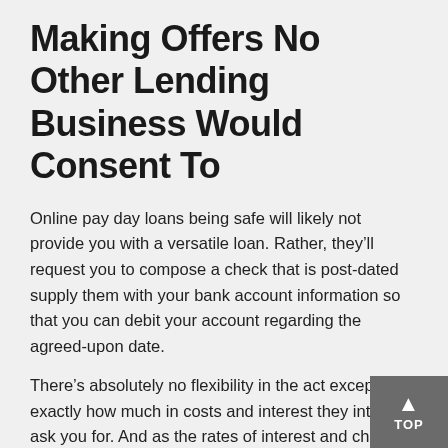Making Offers No Other Lending Business Would Consent To
Online pay day loans being safe will likely not provide you with a versatile loan. Rather, they’ll request you to compose a check that is post-dated supply them with your bank account information so that you can debit your account regarding the agreed-upon date.
There’s absolutely no flexibility in the act except exactly how much in costs and interest they intend to ask you for. And as the rates of interest and charges rely on exactly what each cash advance company sets if you want to find safe online payday loans, remember that if it seems to good to be true, it probably is for itself, it’s impossible to calculate and offer a lower rate than their competition..Do not fall for the lowest rate or flexible rate offer..The bottom line is that. Utilize sense that is common do a little research.Work With United States to have Your Payday Loan.While we won’t offer you immediate approval, we could offer you safe